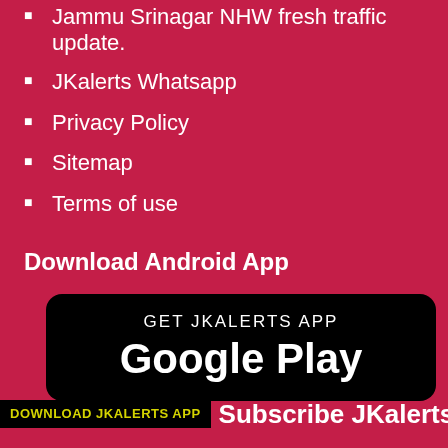Jammu Srinagar NHW fresh traffic update.
JKalerts Whatsapp
Privacy Policy
Sitemap
Terms of use
Download Android App
[Figure (logo): Google Play Store button with black rounded rectangle background, text GET JKALERTS APP above Google Play in large white letters]
[Figure (logo): Bottom bar with black badge saying DOWNLOAD JKALERTS APP in yellow, followed by Subscribe JKalerts.com text in white with Google Play triangle logo]